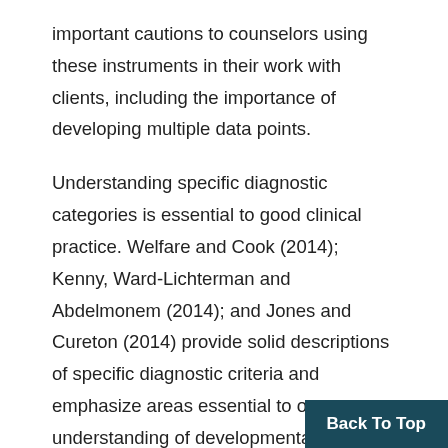important cautions to counselors using these instruments in their work with clients, including the importance of developing multiple data points.
Understanding specific diagnostic categories is essential to good clinical practice. Welfare and Cook (2014); Kenny, Ward-Lichterman and Abdelmonem (2014); and Jones and Cureton (2014) provide solid descriptions of specific diagnostic criteria and emphasize areas essential to our understanding of developmental and demographic strata. Welfare and Cook (2014) tackle chronic and persistent mental illness manifested diagnoses within the following categories: